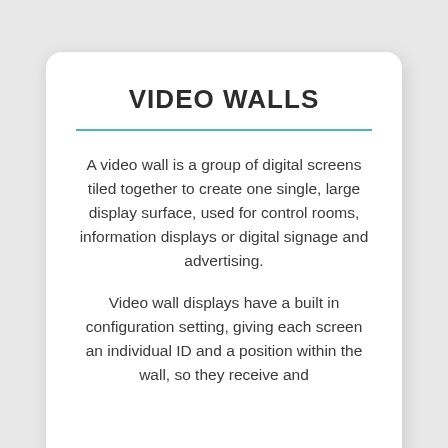VIDEO WALLS
A video wall is a group of digital screens tiled together to create one single, large display surface, used for control rooms, information displays or digital signage and advertising.
Video wall displays have a built in configuration setting, giving each screen an individual ID and a position within the wall, so they receive and